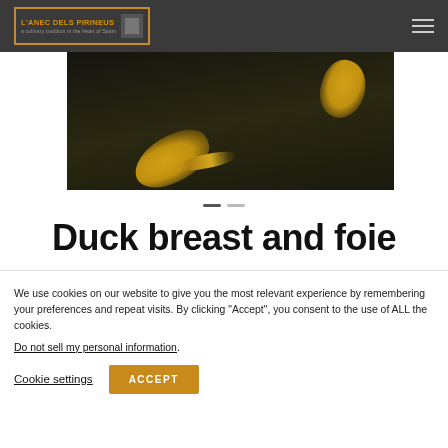L'ANEC DELS PIRINEUS — navigation bar with logo and hamburger menu
[Figure (photo): Close-up photo of a dark wood board with golden sauce drops/feather garnish — duck breast and foie dish presentation]
— —
Duck breast and foie
We use cookies on our website to give you the most relevant experience by remembering your preferences and repeat visits. By clicking “Accept”, you consent to the use of ALL the cookies.
Do not sell my personal information.
Cookie settings   ACCEPT